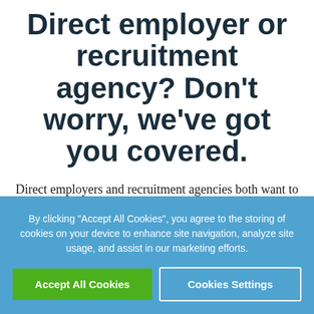Direct employer or recruitment agency? Don't worry, we've got you covered.
Direct employers and recruitment agencies both want to hire the best people. But their job advert requirements are very different. So to help two different tribes, we've created two versions of AdBuilder, each uniquely tailored to the advert type required.
By clicking "Accept All Cookies", you agree to the storing of cookies on your device to enhance site navigation, analyze site usage, and assist in our marketing efforts.
Accept All Cookies | Cookies Settings